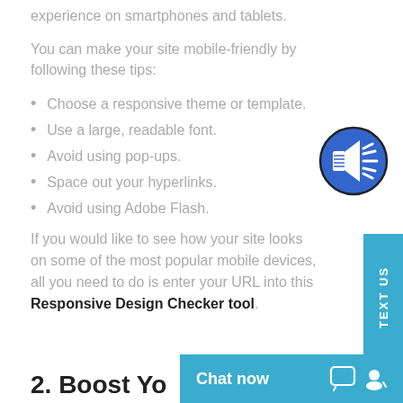experience on smartphones and tablets.
You can make your site mobile-friendly by following these tips:
Choose a responsive theme or template.
Use a large, readable font.
Avoid using pop-ups.
Space out your hyperlinks.
Avoid using Adobe Flash.
[Figure (illustration): Blue circular audio/speaker icon with horizontal lines and sound waves]
If you would like to see how your site looks on some of the most popular mobile devices, all you need to do is enter your URL into this Responsive Design Checker tool.
2. Boost Yo...